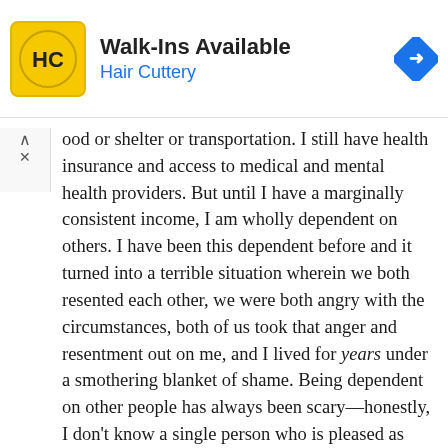[Figure (logo): Hair Cuttery advertisement banner with logo (HC in yellow circle), 'Walk-Ins Available' headline, 'Hair Cuttery' in blue, and blue diamond navigation icon]
ood or shelter or transportation. I still have health insurance and access to medical and mental health providers. But until I have a marginally consistent income, I am wholly dependent on others. I have been this dependent before and it turned into a terrible situation wherein we both resented each other, we were both angry with the circumstances, both of us took that anger and resentment out on me, and I lived for years under a smothering blanket of shame. Being dependent on other people has always been scary—honestly, I don't know a single person who is pleased as punch to be dependent on other people—but now I carry the additional fear that dependence will lead me down a path back to the familiar resentment